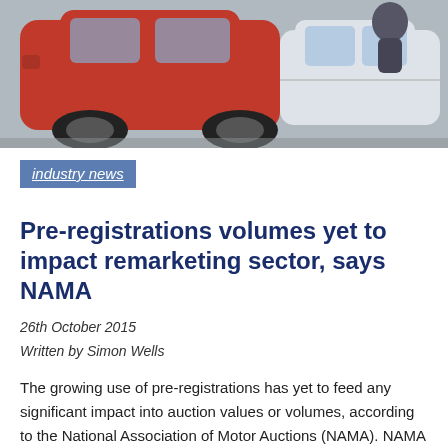[Figure (photo): Photo of cars at an auction or dealership, showing a red car and white/silver cars close-up]
industry news
Pre-registrations volumes yet to impact remarketing sector, says NAMA
26th October 2015
Written by Simon Wells
The growing use of pre-registrations has yet to feed any significant impact into auction values or volumes, according to the National Association of Motor Auctions (NAMA). NAMA said dealers have so far been able to absorb the growing number of nearly new vehicles as manufacturers and dealers seek to achieve ambitious volume targets. Year-on-year, volumes